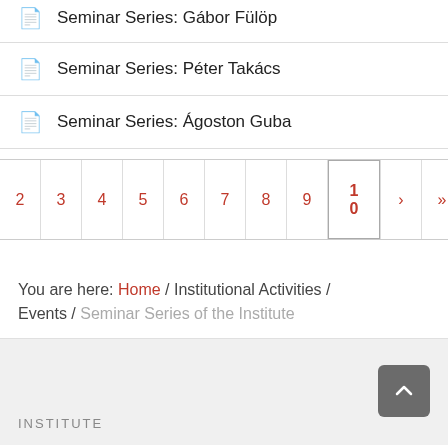Seminar Series: Péter Takács
Seminar Series: Ágoston Guba
2 3 4 5 6 7 8 9 10 > >> Page 1 of 13
You are here: Home / Institutional Activities / Events / Seminar Series of the Institute
INSTITUTE